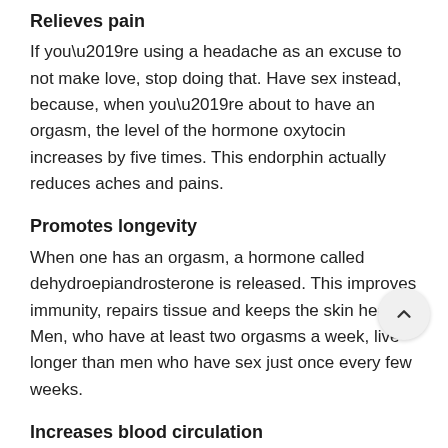Relieves pain
If you’re using a headache as an excuse to not make love, stop doing that. Have sex instead, because, when you’re about to have an orgasm, the level of the hormone oxytocin increases by five times. This endorphin actually reduces aches and pains.
Promotes longevity
When one has an orgasm, a hormone called dehydroepiandrosterone is released. This improves immunity, repairs tissue and keeps the skin healthy. Men, who have at least two orgasms a week, live longer than men who have sex just once every few weeks.
Increases blood circulation
Because your heart rate increases when you have